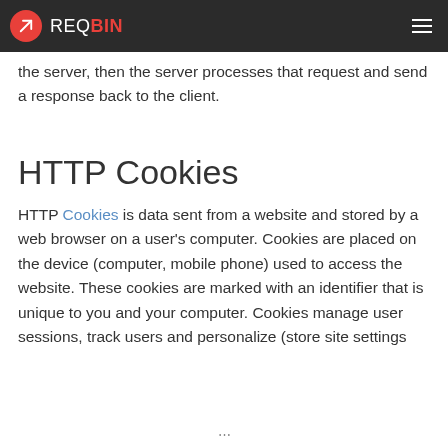REQBIN
the server, then the server processes that request and send a response back to the client.
HTTP Cookies
HTTP Cookies is data sent from a website and stored by a web browser on a user's computer. Cookies are placed on the device (computer, mobile phone) used to access the website. These cookies are marked with an identifier that is unique to you and your computer. Cookies manage user sessions, track users and personalize (store site settings